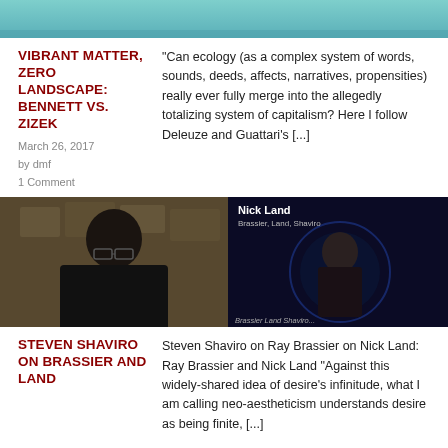[Figure (photo): Top portion of an image, appears to be a teal/blue colored illustration or artwork]
VIBRANT MATTER, ZERO LANDSCAPE: BENNETT VS. ZIZEK
"Can ecology (as a complex system of words, sounds, deeds, affects, narratives, propensities) really ever fully merge into the allegedly totalizing system of capitalism? Here I follow Deleuze and Guattari's [...]
March 26, 2017
by dmf
1 Comment
[Figure (photo): Left half: a man with dark hair and glasses in front of a stone wall background. Right half: a dark fantasy-style character card labeled Nick Land with text Brassier, Land, Shaviro]
STEVEN SHAVIRO ON BRASSIER AND LAND
Steven Shaviro on Ray Brassier on Nick Land: Ray Brassier and Nick Land "Against this widely-shared idea of desire's infinitude, what I am calling neo-aestheticism understands desire as being finite, [...]